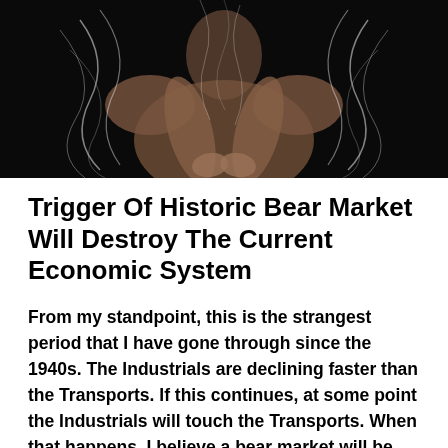[Figure (photo): Dark artistic photo of a person with smoke or translucent material swirling around their torso and hands, set against a black background.]
Trigger Of Historic Bear Market Will Destroy The Current Economic System
From my standpoint, this is the strangest period that I have gone through since the 1940s. The Industrials are declining faster than the Transports. If this continues, at some point the Industrials will touch the Transports. When that happens, I believe a bear market will be signaled, as both Industrials and Transports